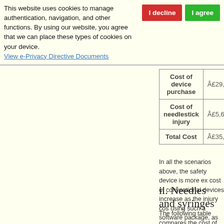This website uses cookies to manage authentication, navigation, and other functions. By using our website, you agree that we can place these types of cookies on your device. View e-Privacy Directive Documents
| Cost of device purchase | Â£29,479.00 | Â£47,546.00 |
| Cost of needlestick injury | Â£5,600.00 | Â£1,344.00 |
| Total Cost | Â£35,079.00 | Â£48,890.00 |
In all the scenarios above, the safety device is more ex cost of conventional devices increase as the injury cos using such a software package, as the cost of introduc scenarios.
ii. Needles and syringes
The following table compares the cost of using conven safety syringe (needle with shield) using the BD costin